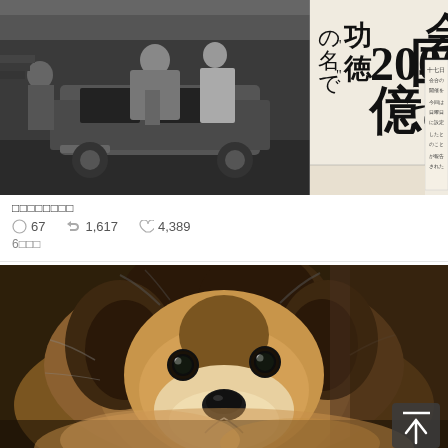[Figure (photo): Black and white newspaper photo showing people near a car, with large Japanese text characters including '功德', 'の名で', '国で2000億', and partial text '会'. A news article clipping about a 200 billion yen scandal.]
□□□□□□□□
○ 67   ↺ 1,617   ♡ 4,389
6□□□
[Figure (photo): Close-up color photo of a fluffy brown and tan dog (resembling a Sheltie or Collie mix) looking directly at camera with dark eyes. A scroll-to-top button is visible in bottom right corner.]
8□24□(□)□□□□□□□□□□□□□□□□□□□□□□□□□□□□□□□□□□□□□□□□□□□□□□□□□□□□□□